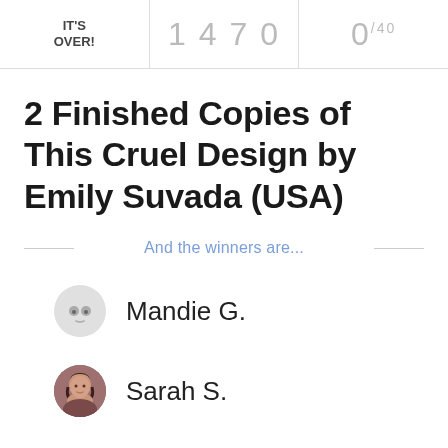IT'S OVER! | 1470 | 0/40
2 Finished Copies of This Cruel Design by Emily Suvada (USA)
And the winners are...
Mandie G.
Sarah S.